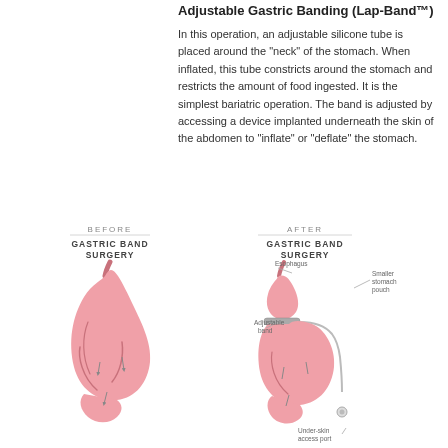Adjustable Gastric Banding (Lap-Band™)
In this operation, an adjustable silicone tube is placed around the "neck" of the stomach. When inflated, this tube constricts around the stomach and restricts the amount of food ingested. It is the simplest bariatric operation. The band is adjusted by accessing a device implanted underneath the skin of the abdomen to "inflate" or "deflate" the stomach.
[Figure (illustration): Two-panel medical diagram comparing gastric anatomy before and after gastric band surgery. Left panel labeled BEFORE GASTRIC BAND SURGERY shows a normal stomach illustration. Right panel labeled AFTER GASTRIC BAND SURGERY shows stomach with labeled parts: Esophagus, Smaller stomach pouch, Adjustable band, and Under-skin access port.]